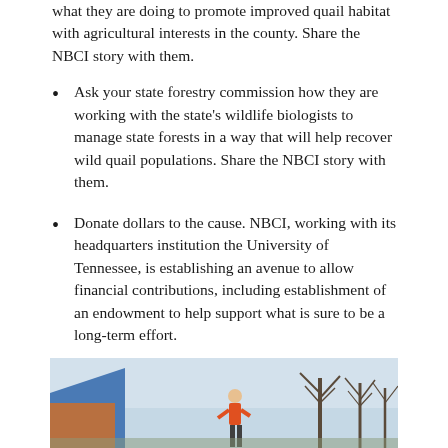what they are doing to promote improved quail habitat with agricultural interests in the county. Share the NBCI story with them.
Ask your state forestry commission how they are working with the state's wildlife biologists to manage state forests in a way that will help recover wild quail populations. Share the NBCI story with them.
Donate dollars to the cause. NBCI, working with its headquarters institution the University of Tennessee, is establishing an avenue to allow financial contributions, including establishment of an endowment to help support what is sure to be a long-term effort.
[Figure (photo): Outdoor photograph showing a building with a blue roof on the left, bare winter trees in the background, and a person in orange clothing in the foreground center.]